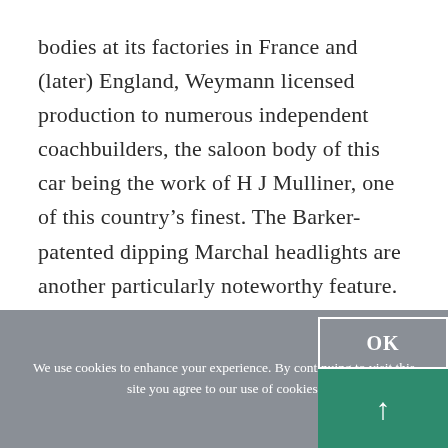bodies at its factories in France and (later) England, Weymann licensed production to numerous independent coachbuilders, the saloon body of this car being the work of H J Mulliner, one of this country's finest. The Barker-patented dipping Marchal headlights are another particularly noteworthy feature. The car's first owner was a Colonel Guy Geddes, who purchased it from Albemarle Motors,
We use cookies to enhance your experience. By continuing to visit this site you agree to our use of cookies.